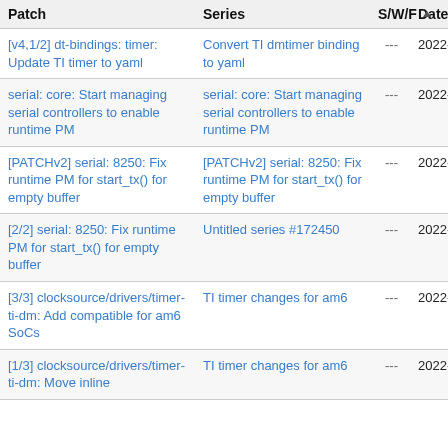| Patch | Series | S/W/F | Date |
| --- | --- | --- | --- |
| [v4,1/2] dt-bindings: timer: Update TI timer to yaml | Convert TI dmtimer binding to yaml | --- | 2022-04- |
| serial: core: Start managing serial controllers to enable runtime PM | serial: core: Start managing serial controllers to enable runtime PM | --- | 2022-04- |
| [PATCHv2] serial: 8250: Fix runtime PM for start_tx() for empty buffer | [PATCHv2] serial: 8250: Fix runtime PM for start_tx() for empty buffer | --- | 2022-04- |
| [2/2] serial: 8250: Fix runtime PM for start_tx() for empty buffer | Untitled series #172450 | --- | 2022-04- |
| [3/3] clocksource/drivers/timer-ti-dm: Add compatible for am6 SoCs | TI timer changes for am6 | --- | 2022-04- |
| [1/3] clocksource/drivers/timer-ti-dm: Move inline | TI timer changes for am6 | --- | 2022-04- |